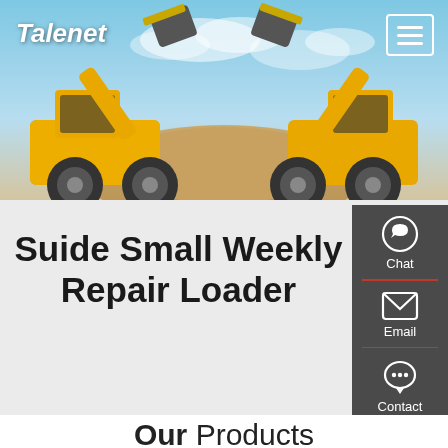Talenet
[Figure (photo): Two large yellow wheel loaders facing each other with raised buckets, against a sandy construction site and blue sky background]
Suide Small Weekly Repair Loader
[Figure (infographic): Dark grey sidebar panel with Chat, Email, and Contact options with icons]
Our Products